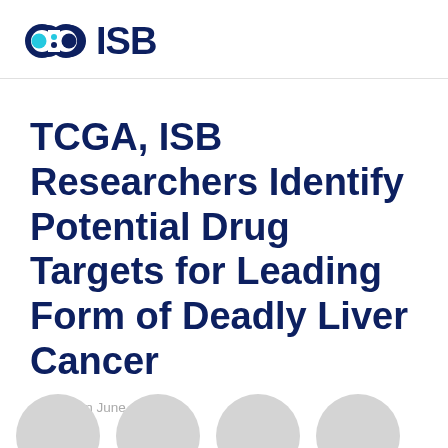[Figure (logo): ISB (Institute for Systems Biology) logo with infinity symbol in dark blue and cyan, followed by bold text 'ISB' in dark navy]
TCGA, ISB Researchers Identify Potential Drug Targets for Leading Form of Deadly Liver Cancer
Posted on June 19, 2017
[Figure (illustration): Row of four partially visible grey circles at the bottom of the page]